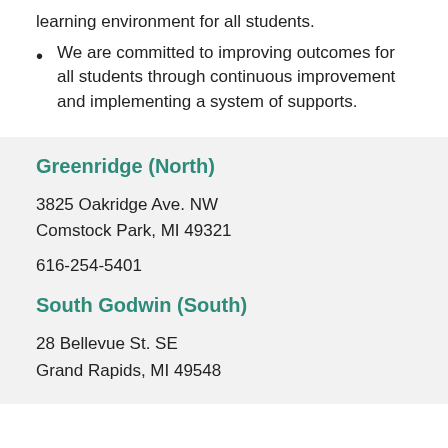learning environment for all students.
We are committed to improving outcomes for all students through continuous improvement and implementing a system of supports.
Greenridge (North)
3825 Oakridge Ave. NW
Comstock Park, MI 49321
616-254-5401
South Godwin (South)
28 Bellevue St. SE
Grand Rapids, MI 49548